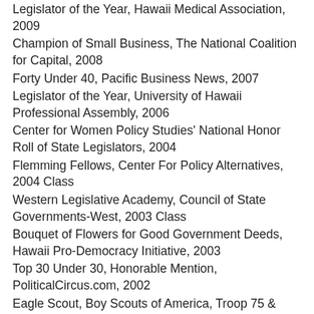Legislator of the Year, Hawaii Medical Association, 2009
Champion of Small Business, The National Coalition for Capital, 2008
Forty Under 40, Pacific Business News, 2007
Legislator of the Year, University of Hawaii Professional Assembly, 2006
Center for Women Policy Studies' National Honor Roll of State Legislators, 2004
Flemming Fellows, Center For Policy Alternatives, 2004 Class
Western Legislative Academy, Council of State Governments-West, 2003 Class
Bouquet of Flowers for Good Government Deeds, Hawaii Pro-Democracy Initiative, 2003
Top 30 Under 30, Honorable Mention, PoliticalCircus.com, 2002
Eagle Scout, Boy Scouts of America, Troop 75 & Team 75